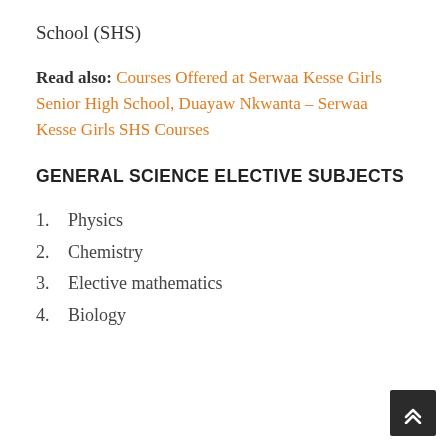School (SHS)
Read also: Courses Offered at Serwaa Kesse Girls Senior High School, Duayaw Nkwanta – Serwaa Kesse Girls SHS Courses
GENERAL SCIENCE ELECTIVE SUBJECTS
Physics
Chemistry
Elective mathematics
Biology